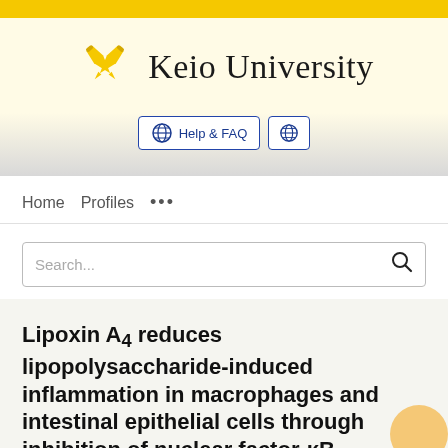[Figure (logo): Keio University logo with crossed pens in gold and university name in serif font]
Help & FAQ
🌐
Home   Profiles   ...
Search...
Lipoxin A4 reduces lipopolysaccharide-induced inflammation in macrophages and intestinal epithelial cells through inhibition of nuclear factor-κB